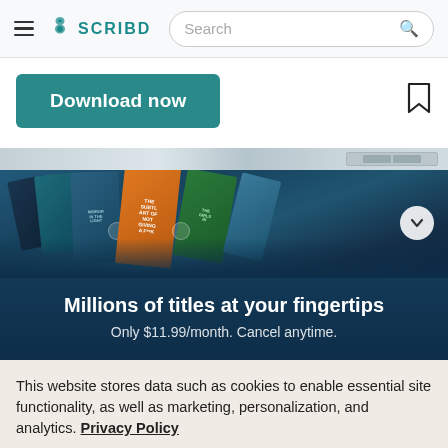Scribd navigation bar with hamburger menu, Scribd logo, and search bar
Download now
[Figure (screenshot): Document preview strip with partial document content visible]
[Figure (illustration): Banner showing colorful book covers with text: Millions of titles at your fingertips. Only $11.99/month. Cancel anytime.]
This website stores data such as cookies to enable essential site functionality, as well as marketing, personalization, and analytics. Privacy Policy
Accept
Deny